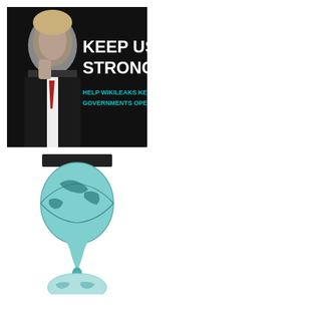[Figure (photo): WikiLeaks 'Keep Us Strong' banner ad showing a man in a suit with red tie against black background, with text 'KEEP US STRONG' in white and 'HELP WIKILEAKS KEEP GOVERNMENTS OPEN' in teal]
[Figure (logo): WikiLeaks logo: hourglass shape made of two globe illustrations dripping, with 'WikiLeaks' text on a black bar at bottom]
Browse by PU
| Reference ID | Subject |
| --- | --- |
| 09DAKAR1069 | CONFLICTI... MESSAGES... WADE'S MO... |